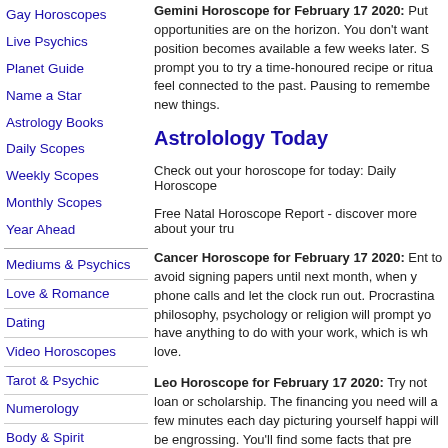Gay Horoscopes
Live Psychics
Planet Guide
Name a Star
Astrology Books
Daily Scopes
Weekly Scopes
Monthly Scopes
Year Ahead
Mediums & Psychics
Love & Romance
Dating
Video Horoscopes
Tarot & Psychic
Numerology
Body & Spirit
Destiny & Mind
Mobile
Gemini Horoscope for February 17 2020: Put opportunities are on the horizon. You don't want position becomes available a few weeks later. S prompt you to try a time-honoured recipe or ritu feel connected to the past. Pausing to remembe new things.
Astrolology Today
Check out your horoscope for today: Daily Horoscope
Free Natal Horoscope Report - discover more about your tru
Cancer Horoscope for February 17 2020: Ent to avoid signing papers until next month, when y phone calls and let the clock run out. Procrastina philosophy, psychology or religion will prompt yo have anything to do with your work, which is wh love.
Leo Horoscope for February 17 2020: Try not loan or scholarship. The financing you need will a few minutes each day picturing yourself happi will be engrossing. You'll find some facts that pre information, it will be easy to develop a theory a